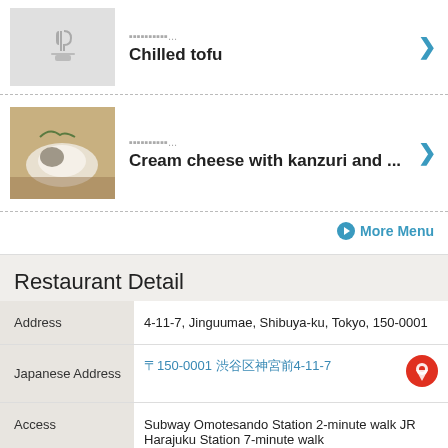Chilled tofu
Cream cheese with kanzuri and ...
More Menu
Restaurant Detail
|  |  |
| --- | --- |
| Address | 4-11-7, Jinguumae, Shibuya-ku, Tokyo, 150-0001 |
| Japanese Address | 〒150-0001 渋谷区神宮前4-11-7 |
| Access | Subway Omotesando Station 2-minute walk JR Harajuku Station 7-minute walk |
| Parking | No Parking |